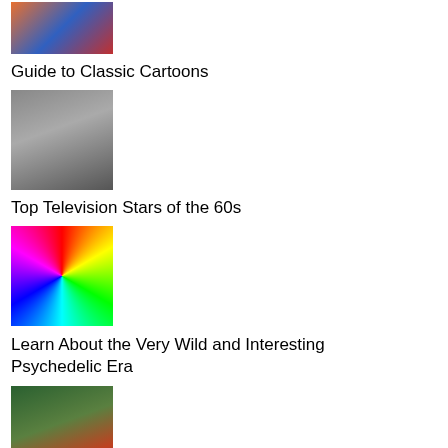[Figure (photo): Thumbnail image for Guide to Classic Cartoons]
Guide to Classic Cartoons
[Figure (photo): Black and white photo of two people, thumbnail for Top Television Stars of the 60s]
Top Television Stars of the 60s
[Figure (photo): Colorful psychedelic swirl image, thumbnail for Learn About the Very Wild and Interesting Psychedelic Era]
Learn About the Very Wild and Interesting Psychedelic Era
[Figure (photo): Hands holding red berries, thumbnail for The Art of Food Foraging]
The Art of Food Foraging
What are Dirty Thunderstorms and When Do